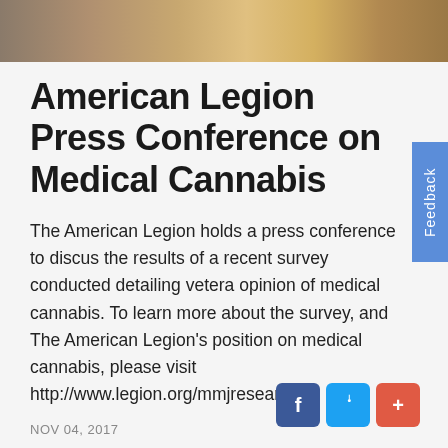[Figure (photo): Partial photo of a person at the top of the page, cropped to show only the upper portion]
American Legion Press Conference on Medical Cannabis
The American Legion holds a press conference to discuss the results of a recent survey conducted detailing veteran opinion of medical cannabis. To learn more about the survey, and The American Legion's position on medical cannabis, please visit http://www.legion.org/mmjresearch
NOV 04, 2017